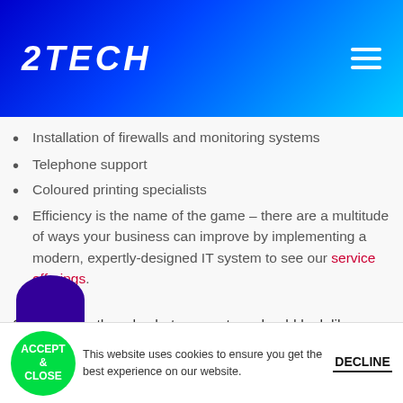ZTECH
Installation of firewalls and monitoring systems
Telephone support
Coloured printing specialists
Efficiency is the name of the game – there are a multitude of ways your business can improve by implementing a modern, expertly-designed IT system to see our service offerings.
Call us to go though what your set up should look like – purpose built software for accountants 020 8864 4444
This website uses cookies to ensure you get the best experience on our website.